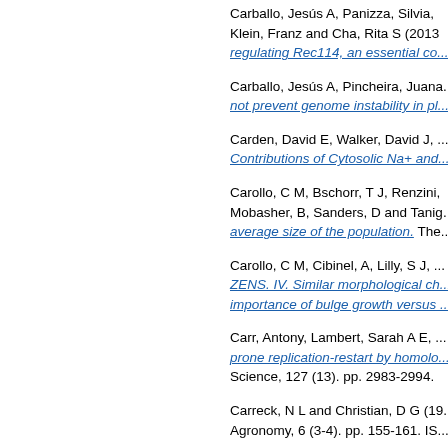Carballo, Jesús A, Panizza, Silvia, Klein, Franz and Cha, Rita S (2013) regulating Rec114, an essential co...
Carballo, Jesús A, Pincheira, Juana... not prevent genome instability in pl...
Carden, David E, Walker, David J, ... Contributions of Cytosolic Na+ and...
Carollo, C M, Bschorr, T J, Renzini, Mobasher, B, Sanders, D and Tanig... average size of the population. The...
Carollo, C M, Cibinel, A, Lilly, S J, ... ZENS. IV. Similar morphological ch... importance of bulge growth versus...
Carr, Antony, Lambert, Sarah A E, ... prone replication-restart by homolo... Science, 127 (13). pp. 2983-2994.
Carreck, N L and Christian, D G (19... Agronomy, 6 (3-4). pp. 155-161. IS...
Carreck, N L and Williams, I H (199...